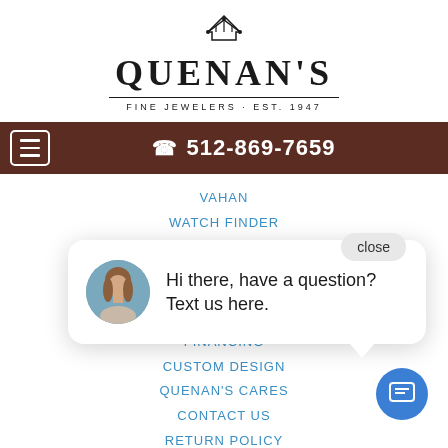[Figure (logo): Quenan's Fine Jewelers logo with crown icon, brand name, and tagline 'FINE JEWELERS · EST. 1947']
☎ 512-869-7659
VAHAN
WATCH FINDER
OUR COMPANY
LOOSE DIAMONDS
ABOUT US
[Figure (screenshot): Chat popup with avatar photo of a woman, text 'Hi there, have a question? Text us here.' and a close button]
FINANCING
CUSTOM DESIGN
QUENAN'S CARES
CONTACT US
RETURN POLICY